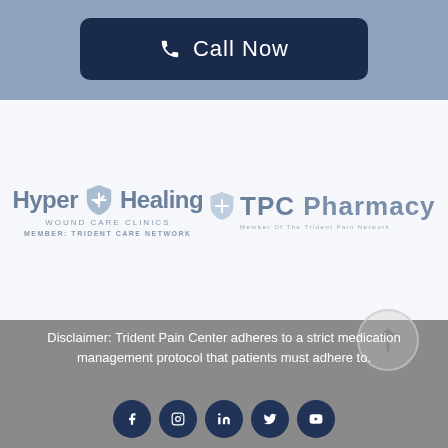[Figure (other): Call Now button with phone icon on dark navy background]
[Figure (logo): Hyper Healing Wound Care Clinics logo - Member: Trident Care Network]
[Figure (logo): TPC Pharmacy logo - Member Of The Trident Pain Network]
Disclaimer: Trident Pain Center adheres to a strict medication management protocol that patients must adhere to.
[Figure (other): Social media icons row: Facebook, Instagram, LinkedIn, Twitter, YouTube]